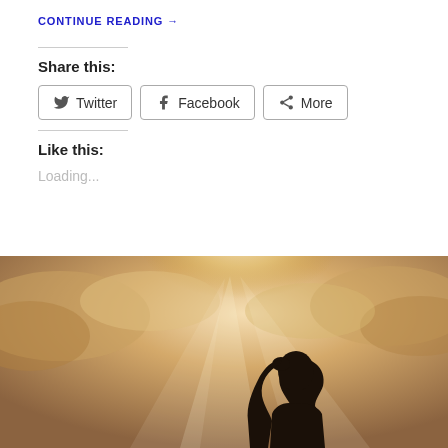CONTINUE READING →
Share this:
Twitter Facebook More
Like this:
Loading...
[Figure (photo): Sepia-toned silhouette of a woman looking upward against a dramatic cloudy sky with rays of light breaking through the clouds]